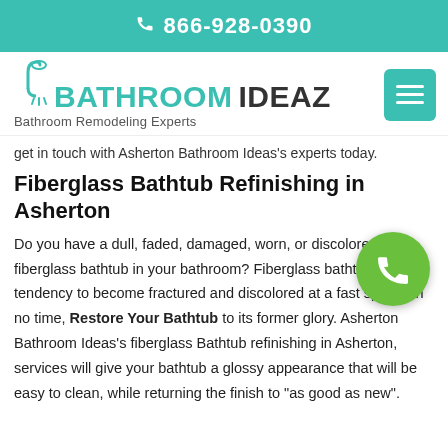866-928-0390
[Figure (logo): Bathroom Ideaz logo with shower icon, teal text, and tagline 'Bathroom Remodeling Experts']
get in touch with Asherton Bathroom Ideas's experts today.
Fiberglass Bathtub Refinishing in Asherton
Do you have a dull, faded, damaged, worn, or discolored fiberglass bathtub in your bathroom? Fiberglass bathtubs have a tendency to become fractured and discolored at a fast speed. In no time, Restore Your Bathtub to its former glory. Asherton Bathroom Ideas's fiberglass Bathtub refinishing in Asherton, services will give your bathtub a glossy appearance that will be easy to clean, while returning the finish to "as good as new".